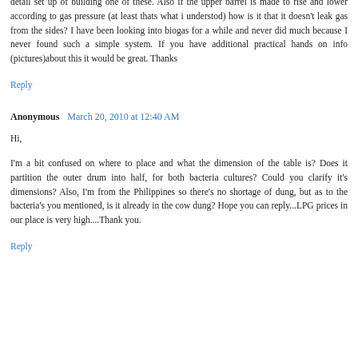detail set up of building one of these. Also if the upper barrel is made to rise and lower according to gas pressure (at least thats what i understod) how is it that it doesn't leak gas from the sides? I have been looking into biogas for a while and never did much because I never found such a simple system. If you have additional practical hands on info (pictures)about this it would be great. Thanks
Reply
Anonymous  March 20, 2010 at 12:40 AM
Hi,
I'm a bit confused on where to place and what the dimension of the table is? Does it partition the outer drum into half, for both bacteria cultures? Could you clarify it's dimensions? Also, I'm from the Philippines so there's no shortage of dung, but as to the bacteria's you mentioned, is it already in the cow dung? Hope you can reply...LPG prices in our place is very high....Thank you.
Reply